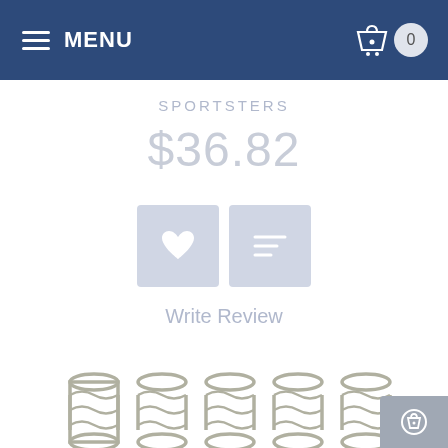MENU
SPORTSTERS
$36.82
[Figure (screenshot): Two square buttons side by side: a heart/wishlist button and a list/compare button, both in light blue-gray]
Write Review
[Figure (photo): Ten metal coil springs arranged in two rows of five on white background]